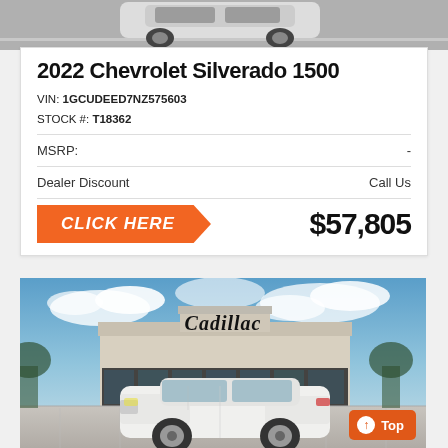[Figure (photo): Top portion of a white Chevrolet Silverado truck on a parking lot, cropped at top of page]
2022 Chevrolet Silverado 1500
VIN: 1GCUDEED7NZ575603
STOCK #: T18362
MSRP: -
Dealer Discount    Call Us
CLICK HERE    $57,805
[Figure (photo): Photo of a Cadillac dealership building with a white Cadillac sedan in the foreground and the Cadillac script logo on the building facade]